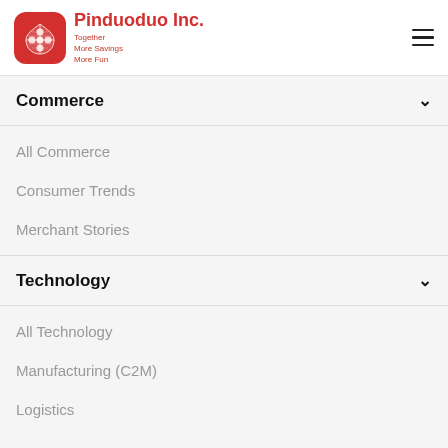Pinduoduo Inc. — Together More Savings More Fun
Commerce
All Commerce
Consumer Trends
Merchant Stories
Technology
All Technology
Manufacturing (C2M)
Logistics